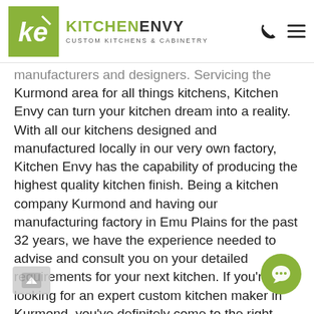[Figure (logo): Kitchen Envy logo: green square with stylized 'ke' monogram in white italic font, followed by 'KITCHENENVY' in green and dark text, with subtitle 'CUSTOM KITCHENS & CABINETRY'. Phone icon and hamburger menu icon on the right.]
manufacturers and designers. Servicing the Kurmond area for all things kitchens, Kitchen Envy can turn your kitchen dream into a reality. With all our kitchens designed and manufactured locally in our very own factory, Kitchen Envy has the capability of producing the highest quality kitchen finish. Being a kitchen company Kurmond and having our manufacturing factory in Emu Plains for the past 32 years, we have the experience needed to advise and consult you on your detailed requirements for your next kitchen. If you're looking for an expert custom kitchen maker in Kurmond, you've definitely come to the right place. Kitchen Envy has been a strong supporter of our local Kurmond community wi local employment for many years across all of